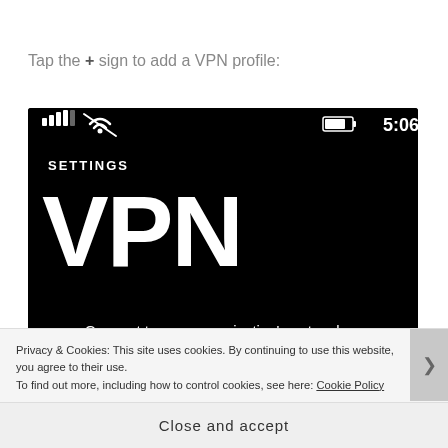Tap the + sign to add a VPN profile:
[Figure (screenshot): Mobile phone screenshot showing Windows Phone Settings > VPN screen with status bar (signal, wifi, battery, time 5:06), SETTINGS heading, large VPN text, and partial text 'Connect to your organization's network or the Internet from anywhere at any time']
Privacy & Cookies: This site uses cookies. By continuing to use this website, you agree to their use.
To find out more, including how to control cookies, see here: Cookie Policy
Close and accept